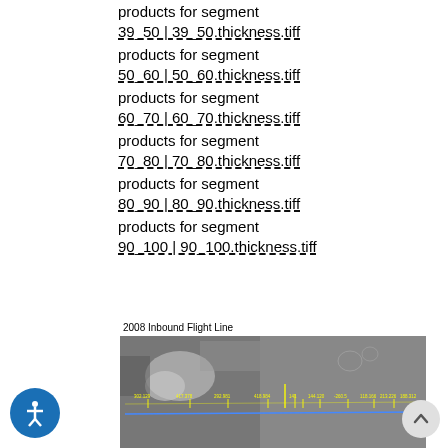products for segment
39_50 | 39_50.thickness.tiff
products for segment
50_60 | 50_60.thickness.tiff
products for segment
60_70 | 60_70.thickness.tiff
products for segment
70_80 | 70_80.thickness.tiff
products for segment
80_90 | 80_90.thickness.tiff
products for segment
90_100 | 90_100.thickness.tiff
2008 Inbound Flight Line
[Figure (photo): Grayscale aerial/satellite image showing a flight line with yellow distance markers and a blue horizontal reference line overlaid]